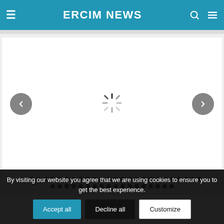ERCIM NEWS
[Figure (screenshot): Slideshow carousel area with white background, left/right navigation arrows (gray circles with chevrons), a loading spinner in the center, and pagination dots below]
By visiting our website you agree that we are using cookies to ensure you to get the best experience.
Accept all   Decline all   Customize